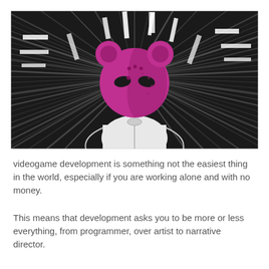[Figure (illustration): Manga/comic-style illustration of a figure wearing a hoodie with a large pink/magenta cartoon bear head with almond-shaped eyes and small dots, set against a dynamic radial speed-lines background in dark grey and black tones with white streaks.]
videogame development is something not the easiest thing in the world, especially if you are working alone and with no money.
This means that development asks you to be more or less everything, from programmer, over artist to narrative director.